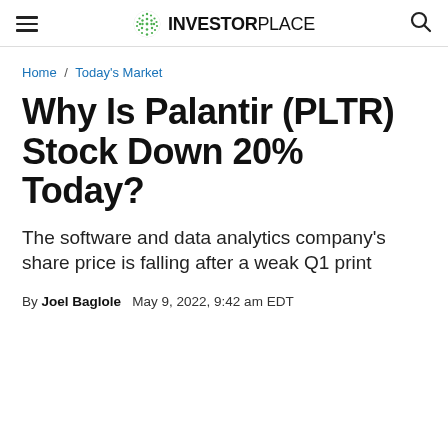INVESTORPLACE
Home / Today's Market
Why Is Palantir (PLTR) Stock Down 20% Today?
The software and data analytics company's share price is falling after a weak Q1 print
By Joel Baglole   May 9, 2022, 9:42 am EDT